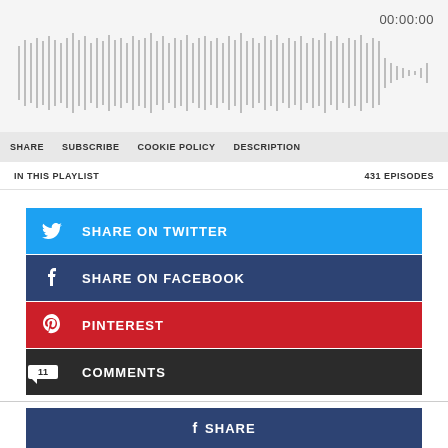[Figure (other): Audio waveform player showing sound wave visualization with timestamp 00:00:00]
00:00:00
SHARE   SUBSCRIBE   COOKIE POLICY   DESCRIPTION
IN THIS PLAYLIST   431 EPISODES
SHARE ON TWITTER
SHARE ON FACEBOOK
PINTEREST
11 COMMENTS
SHARE